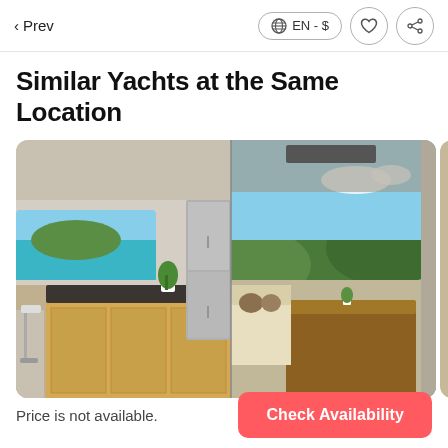< Prev  EN - $
Similar Yachts at the Same Location
[Figure (photo): Interior of a luxury yacht showing a modern kitchen/salon area with wooden cabinetry, a stainless steel refrigerator, bar stools, and an open plan living area with cream sofas and a wooden table, with panoramic views of turquoise water and green hills through large windows.]
Price is not available.
Check Availability